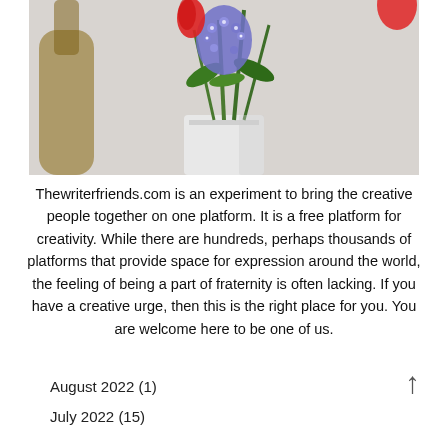[Figure (photo): A photo of a floral arrangement in a white vase featuring red tulips, blue/purple hyacinths, and green leaves, with a guitar partially visible in the background against a light gray wall.]
Thewriterfriends.com is an experiment to bring the creative people together on one platform. It is a free platform for creativity. While there are hundreds, perhaps thousands of platforms that provide space for expression around the world, the feeling of being a part of fraternity is often lacking. If you have a creative urge, then this is the right place for you. You are welcome here to be one of us.
August 2022 (1)
July 2022 (15)